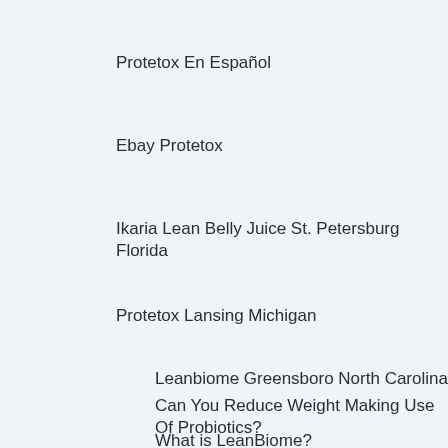Protetox En Español
Ebay Protetox
Ikaria Lean Belly Juice St. Petersburg Florida
Protetox Lansing Michigan
Leanbiome Greensboro North Carolina
Can You Reduce Weight Making Use Of Probiotics?
What is LeanBiome?
Just How Does LeanBiome Aid in Weight Reduction?
What is Inside the LeanBiome Formula?